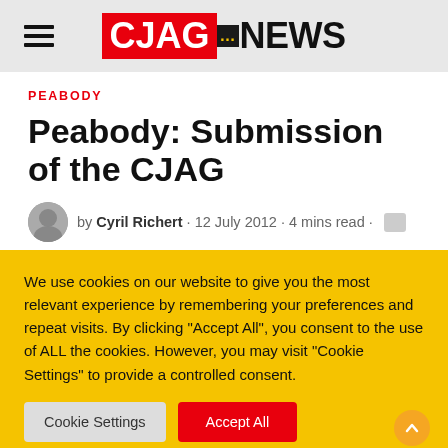CJAG NEWS
PEABODY
Peabody: Submission of the CJAG
by Cyril Richert · 12 July 2012 · 4 mins read ·
We use cookies on our website to give you the most relevant experience by remembering your preferences and repeat visits. By clicking "Accept All", you consent to the use of ALL the cookies. However, you may visit "Cookie Settings" to provide a controlled consent.